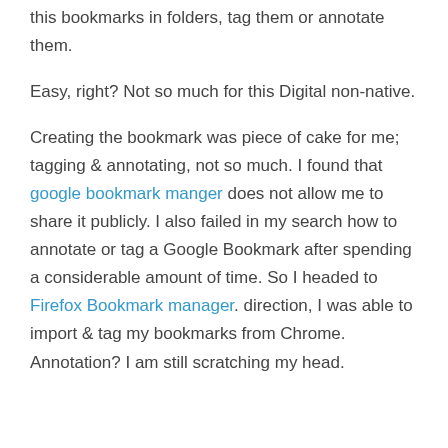this bookmarks in folders, tag them or annotate them. Easy, right?  Not so much for this Digital non-native. Creating the bookmark was piece of cake for me; tagging & annotating, not so much. I found that google bookmark manger does not allow me to share it publicly. I also failed in my search how to annotate or tag a Google Bookmark after spending a considerable amount of time. So I headed to Firefox Bookmark manager. direction, I was able to import & tag my bookmarks from Chrome.  Annotation?  I am still scratching my head.